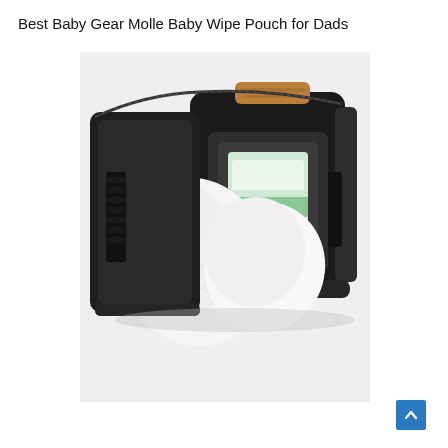Best Baby Gear Molle Baby Wipe Pouch for Dads
[Figure (photo): Product photo of a black tactical MOLLE baby wipe pouch shown open, with a white baby wipe being pulled out from a central opening. The pouch has a Velcro strap on the left interior panel and a brown leather tab at the top. The wipes container is visible inside the right compartment.]